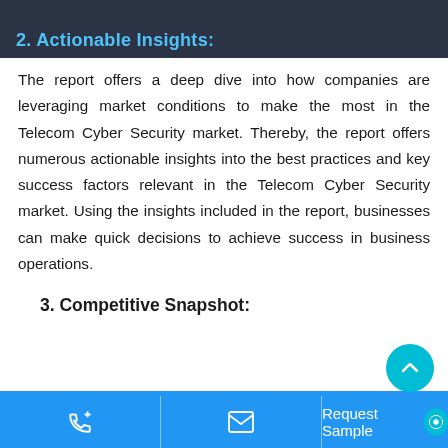2. Actionable Insights:
The report offers a deep dive into how companies are leveraging market conditions to make the most in the Telecom Cyber Security market. Thereby, the report offers numerous actionable insights into the best practices and key success factors relevant in the Telecom Cyber Security market. Using the insights included in the report, businesses can make quick decisions to achieve success in business operations.
3. Competitive Snapshot:
Request Sample